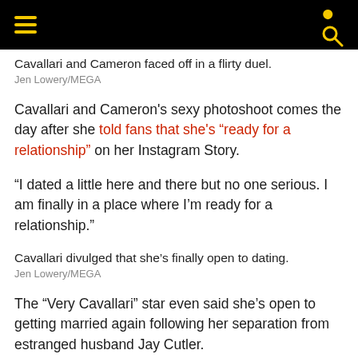[hamburger menu] [search icon]
Cavallari and Cameron faced off in a flirty duel.
Jen Lowery/MEGA
Cavallari and Cameron's sexy photoshoot comes the day after she told fans that she's “ready for a relationship” on her Instagram Story.
“I dated a little here and there but no one serious. I am finally in a place where I’m ready for a relationship.”
Cavallari divulged that she’s finally open to dating.
Jen Lowery/MEGA
The “Very Cavallari” star even said she’s open to getting married again following her separation from estranged husband Jay Cutler.
“I still very much believe in marriage and I’ve had